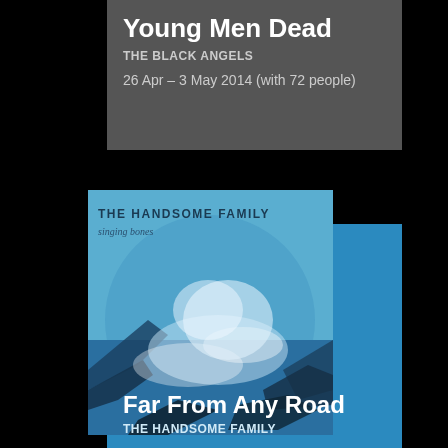Young Men Dead
THE BLACK ANGELS
26 Apr – 3 May 2014 (with 72 people)
[Figure (illustration): Album art for 'Singing Bones' by The Handsome Family — blue-tinted ocean waves crashing against rocky cliffs, with text 'THE HANDSOME FAMILY' and 'singing bones' overlaid]
Far From Any Road
THE HANDSOME FAMILY